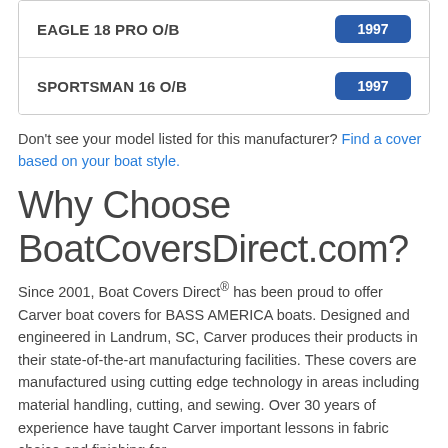| Model | Year |
| --- | --- |
| EAGLE 18 PRO O/B | 1997 |
| SPORTSMAN 16 O/B | 1997 |
Don't see your model listed for this manufacturer? Find a cover based on your boat style.
Why Choose BoatCoversDirect.com?
Since 2001, Boat Covers Direct® has been proud to offer Carver boat covers for BASS AMERICA boats. Designed and engineered in Landrum, SC, Carver produces their products in their state-of-the-art manufacturing facilities. These covers are manufactured using cutting edge technology in areas including material handling, cutting, and sewing. Over 30 years of experience have taught Carver important lessons in fabric choice and finishing for